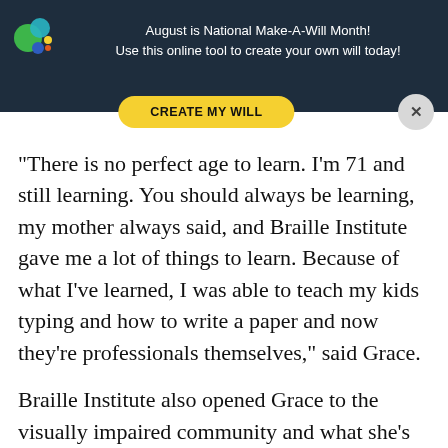August is National Make-A-Will Month! Use this online tool to create your own will today!
CREATE MY WILL
“There is no perfect age to learn. I’m 71 and still learning. You should always be learning, my mother always said, and Braille Institute gave me a lot of things to learn. Because of what I’ve learned, I was able to teach my kids typing and how to write a paper and now they’re professionals themselves,” said Grace.
Braille Institute also opened Grace to the visually impaired community and what she’s